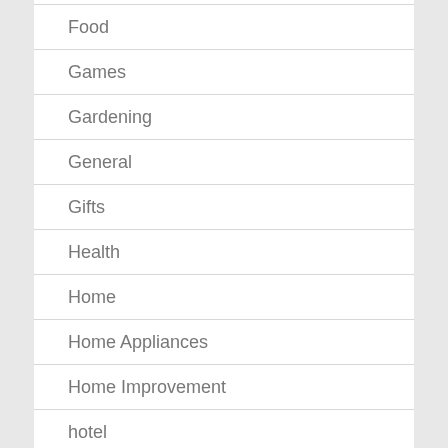Food
Games
Gardening
General
Gifts
Health
Home
Home Appliances
Home Improvement
hotel